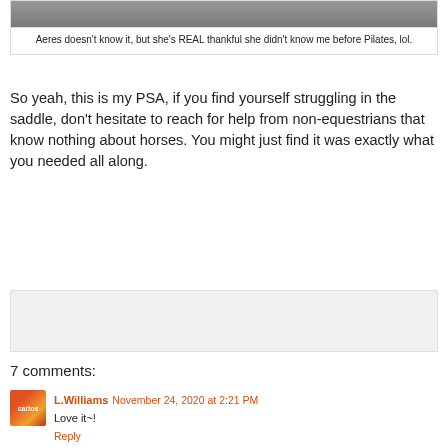[Figure (photo): Partial photo of a person smiling, cropped at top of page]
Aeres doesn't know it, but she's REAL thankful she didn't know me before Pilates, lol.
So yeah, this is my PSA, if you find yourself struggling in the saddle, don't hesitate to reach for help from non-equestrians that know nothing about horses. You might just find it was exactly what you needed all along.
[Figure (other): Gray advertisement placeholder box]
7 comments:
L.Williams November 24, 2020 at 2:21 PM
Love it~!
Reply